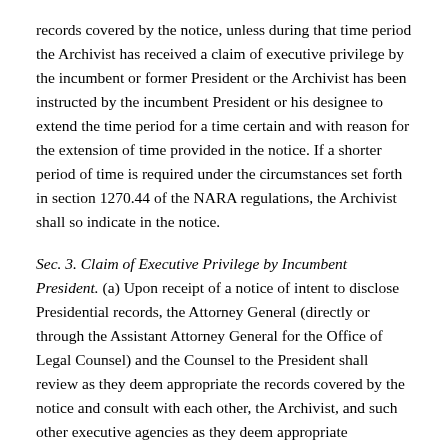records covered by the notice, unless during that time period the Archivist has received a claim of executive privilege by the incumbent or former President or the Archivist has been instructed by the incumbent President or his designee to extend the time period for a time certain and with reason for the extension of time provided in the notice. If a shorter period of time is required under the circumstances set forth in section 1270.44 of the NARA regulations, the Archivist shall so indicate in the notice.
Sec. 3. Claim of Executive Privilege by Incumbent President. (a) Upon receipt of a notice of intent to disclose Presidential records, the Attorney General (directly or through the Assistant Attorney General for the Office of Legal Counsel) and the Counsel to the President shall review as they deem appropriate the records covered by the notice and consult with each other, the Archivist, and such other executive agencies as they deem appropriate concerning whether invocation of executive privilege is justified.
(b) The Attorney General and the Counsel to the President, in